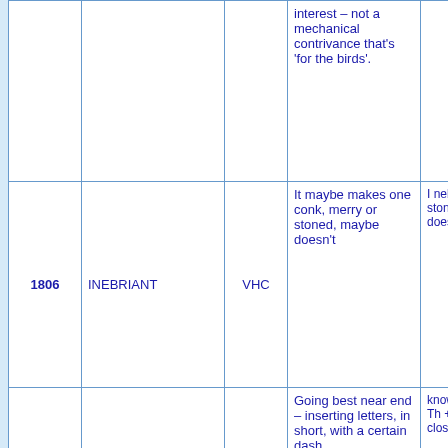| # | Title | Code | Clue | Extra |
| --- | --- | --- | --- | --- |
|  |  |  | interest – not a mechanical contrivance that's 'for the birds'. |  |
| 1806 | INEBRIANT | VHC | It maybe makes one conk, merry or stoned, maybe doesn't | I neb ria lit.; ston anag. of doesn't |
| 1804 | CLOTHES SENSE (Spoonerisms) | VHC | Going best near end – inserting letters, in short, with a certain dash | knowing gear; Th + en, all close |
| 1788 | ETHEREAL OILS | VHC | Unconventional healer embarking on labours needs first what's latest in these | e + anag toils, & l |
| 2005-2006 (section header) |  |  |  |  |
|  |  |  | One you've |  |